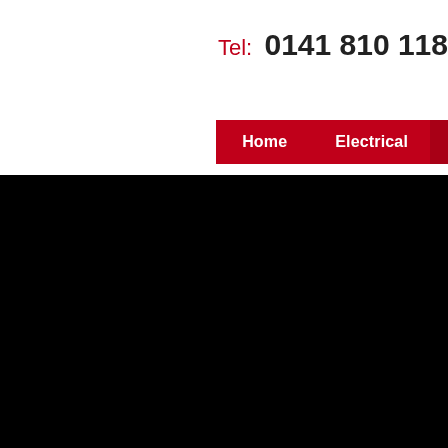Tel: 0141 810 118
Home   Electrical
[Figure (screenshot): Large black area representing a website hero/banner image region, cropped at the bottom of the page.]